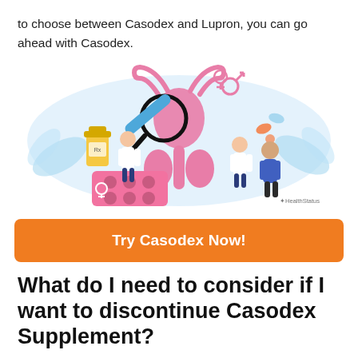to choose between Casodex and Lupron, you can go ahead with Casodex.
[Figure (illustration): Medical illustration showing a magnified prostate/male reproductive anatomy diagram in pink, surrounded by small figures of doctors in white coats and a patient, plus medication pills and a medicine bottle. A pink medication blister pack is in the foreground. HealthStatus logo in bottom right.]
Try Casodex Now!
What do I need to consider if I want to discontinue Casodex Supplement?
By eating you can proceed to the other parts of the above